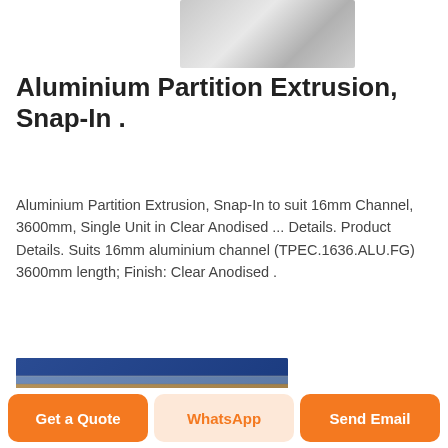[Figure (photo): Small aluminium extrusion profile image at top center]
Aluminium Partition Extrusion, Snap-In .
Aluminium Partition Extrusion, Snap-In to suit 16mm Channel, 3600mm, Single Unit in Clear Anodised ... Details. Product Details. Suits 16mm aluminium channel (TPEC.1636.ALU.FG) 3600mm length; Finish: Clear Anodised .
[Figure (photo): Stack of aluminium panel extrusions in various colors and finishes]
Get a Quote
WhatsApp
Send Email